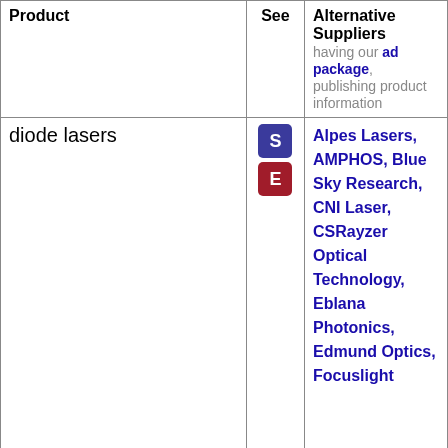| Product | See | Alternative Suppliers |
| --- | --- | --- |
|  |  | having our ad package, publishing product information |
| diode lasers | S E | Alpes Lasers, AMPHOS, Blue Sky Research, CNI Laser, CSRayzer Optical Technology, Eblana Photonics, Edmund Optics, Focuslight |